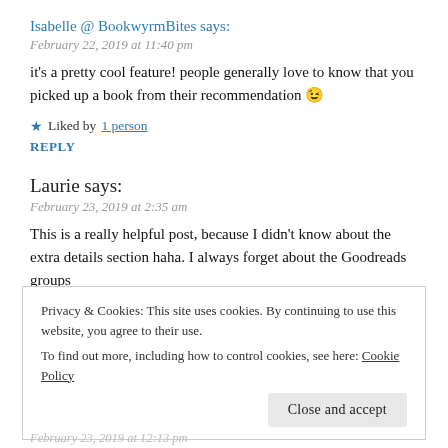Isabelle @ BookwyrmBites says:
February 22, 2019 at 11:40 pm
it's a pretty cool feature! people generally love to know that you picked up a book from their recommendation 😉
Liked by 1 person
REPLY
Laurie says:
February 23, 2019 at 2:35 am
This is a really helpful post, because I didn't know about the extra details section haha. I always forget about the Goodreads groups
Privacy & Cookies: This site uses cookies. By continuing to use this website, you agree to their use. To find out more, including how to control cookies, see here: Cookie Policy
Close and accept
February 23, 2019 at 12:13 pm